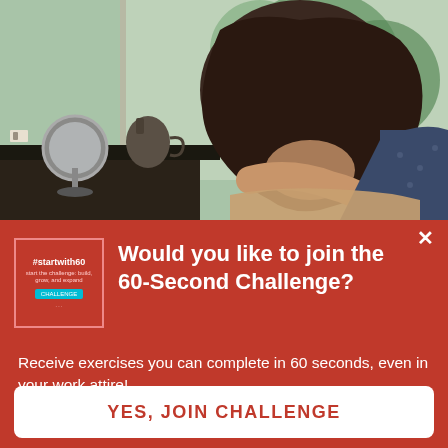[Figure (photo): Woman slumped over, resting her head on her arms on a windowsill, holding a white mug, with a round mirror and teapot visible in the background]
[Figure (illustration): Book cover for #startwith60 challenge with red background and teal button]
Would you like to join the 60-Second Challenge?
Receive exercises you can complete in 60 seconds, even in your work attire!
Learn more
YES, JOIN CHALLENGE